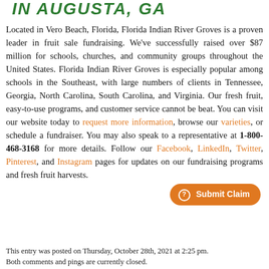IN AUGUSTA, GA
Located in Vero Beach, Florida, Florida Indian River Groves is a proven leader in fruit sale fundraising. We've successfully raised over $87 million for schools, churches, and community groups throughout the United States. Florida Indian River Groves is especially popular among schools in the Southeast, with large numbers of clients in Tennessee, Georgia, North Carolina, South Carolina, and Virginia. Our fresh fruit, easy-to-use programs, and customer service cannot be beat. You can visit our website today to request more information, browse our varieties, or schedule a fundraiser. You may also speak to a representative at 1-800-468-3168 for more details. Follow our Facebook, LinkedIn, Twitter, Pinterest, and Instagram pages for updates on our fundraising programs and fresh fruit harvests.
This entry was posted on Thursday, October 28th, 2021 at 2:25 pm. Both comments and pings are currently closed.